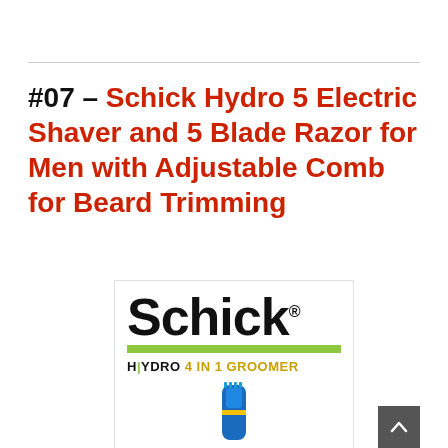#07 – Schick Hydro 5 Electric Shaver and 5 Blade Razor for Men with Adjustable Comb for Beard Trimming
[Figure (photo): Schick Hydro 4-in-1 Groomer product box with the Schick logo in large black text, a green horizontal bar, 'HYDRO 4 IN 1 GROOMER' text, and a blue/yellow razor product partially visible at the bottom.]